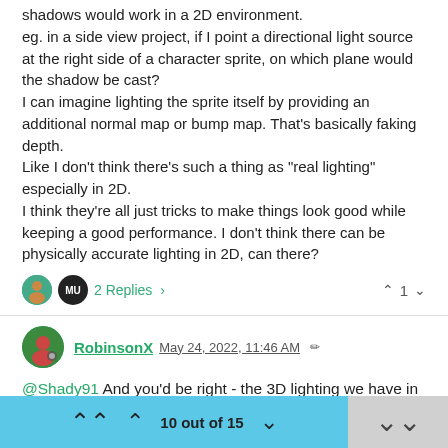shadows would work in a 2D environment.
eg. in a side view project, if I point a directional light source at the right side of a character sprite, on which plane would the shadow be cast?
I can imagine lighting the sprite itself by providing an additional normal map or bump map. That's basically faking depth.
Like I don't think there's such a thing as "real lighting" especially in 2D.
I think they're all just tricks to make things look good while keeping a good performance. I don't think there can be physically accurate lighting in 2D, can there?
2 Replies >
^ 1 v
RobinsonX May 24, 2022, 11:46 AM
@Shady91 And you'd be right - the 3D lighting we have in many video games is also not very realistic to preserve performance.
We could have casted shadows like how it's done in Among Us and we can use gradients to make spots closer to the light source
10 out of 15